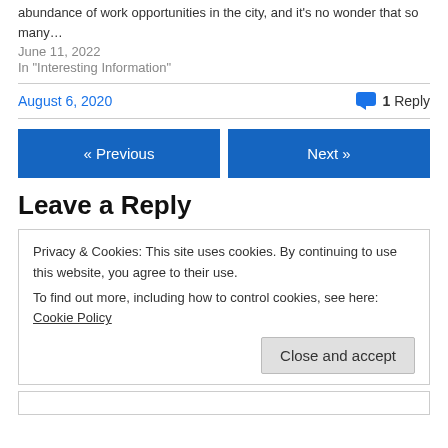abundance of work opportunities in the city, and it's no wonder that so many…
June 11, 2022
In "Interesting Information"
August 6, 2020
1 Reply
« Previous
Next »
Leave a Reply
Privacy & Cookies: This site uses cookies. By continuing to use this website, you agree to their use. To find out more, including how to control cookies, see here: Cookie Policy
Close and accept